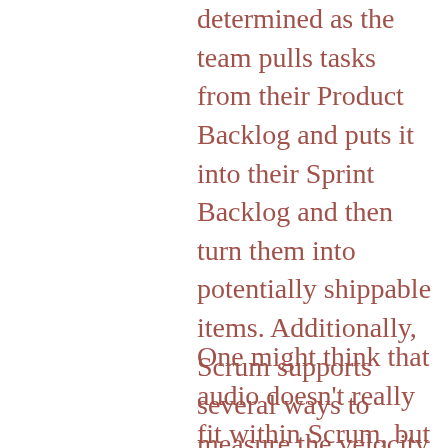determined as the team pulls tasks from their Product Backlog and puts it into their Sprint Backlog and then turn them into potentially shippable items. Additionally, Scrum supports several ways to measure the velocity of the team, allowing for consistent planning. This process helps to reduce risk and increase efficiency, which is why many game studios have integrated Agile/Scrum into their software processes.
One might think that audio doesn't really fit within Scrum, but the cool thing about Scrum and Sprints is that they're a flexible framework, you just have to put yourself in the right mind for it. For the beginners who are new